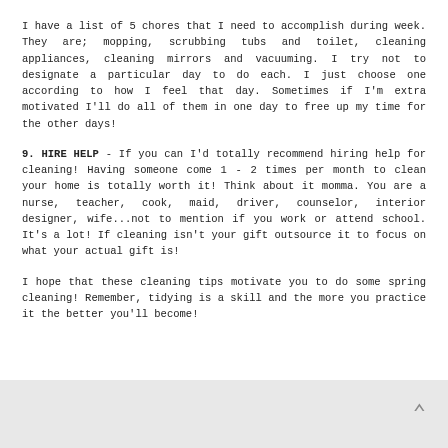I have a list of 5 chores that I need to accomplish during week. They are; mopping, scrubbing tubs and toilet, cleaning appliances, cleaning mirrors and vacuuming. I try not to designate a particular day to do each. I just choose one according to how I feel that day. Sometimes if I'm extra motivated I'll do all of them in one day to free up my time for the other days!
9. HIRE HELP - If you can I'd totally recommend hiring help for cleaning! Having someone come 1 - 2 times per month to clean your home is totally worth it! Think about it momma. You are a nurse, teacher, cook, maid, driver, counselor, interior designer, wife...not to mention if you work or attend school. It's a lot! If cleaning isn't your gift outsource it to focus on what your actual gift is!
I hope that these cleaning tips motivate you to do some spring cleaning! Remember, tidying is a skill and the more you practice it the better you'll become!
[Figure (other): Gray background footer area with an upward-pointing chevron/arrow icon in the lower right corner]